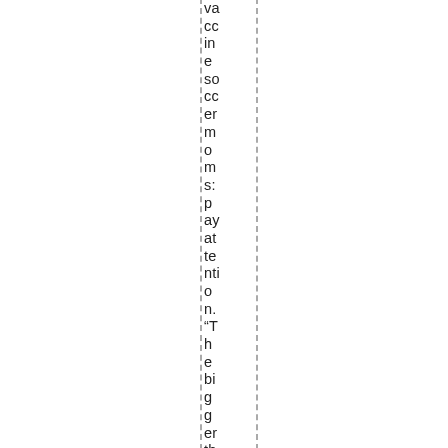vaccine soccer moms: pay attention. “The bigger the lie, th